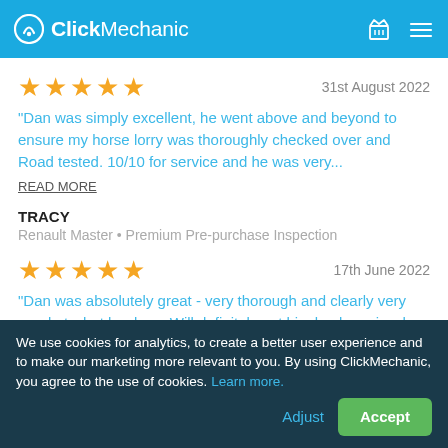ClickMechanic
31st August 2022
“Dan was simply excellent, he went above and beyond to ensure my horse lorry was thoroughly checked over and Road tested. 10/10 for service and he was very...
READ MORE
TRACY
Renault Master • Premium Pre-purchase Inspection
17th June 2022
“Dan was absolutely great - very thorough and clearly very good at what he does. Will definitely get him back again when next needed - highly recommended”
We use cookies for analytics, to create a better user experience and to make our marketing more relevant to you. By using ClickMechanic, you agree to the use of cookies. Learn more.